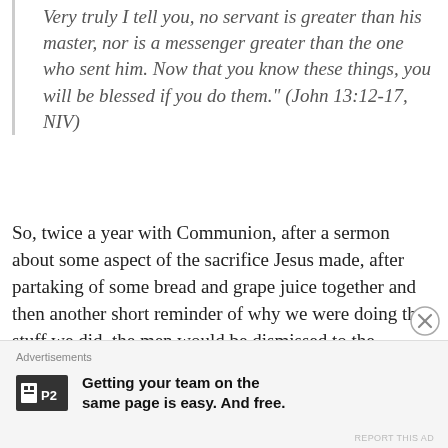Very truly I tell you, no servant is greater than his master, nor is a messenger greater than the one who sent him. Now that you know these things, you will be blessed if you do them." (John 13:12-17, NIV)
So, twice a year with Communion, after a sermon about some aspect of the sacrifice Jesus made, after partaking of some bread and grape juice together and then another short reminder of why we were doing the stuff we did, the men would be dismissed to the basement (leaving the women the upstairs to do their symbolic washing) and on the way down we men would pair up with
Advertisements
Getting your team on the same page is easy. And free.